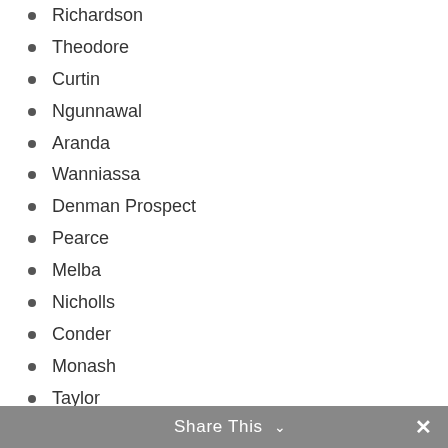Richardson
Theodore
Curtin
Ngunnawal
Aranda
Wanniassa
Denman Prospect
Pearce
Melba
Nicholls
Conder
Monash
Taylor
Fisher
Greenway
Whitlam
Crace
Dickson
Chisholm
Share This ∨  ✕